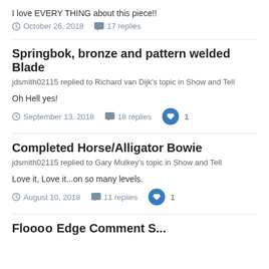I love EVERY THING about this piece!!
October 26, 2018  17 replies
Springbok, bronze and pattern welded Blade
jdsmith02115 replied to Richard van Dijk's topic in Show and Tell
Oh Hell yes!
September 13, 2018  18 replies  1
Completed Horse/Alligator Bowie
jdsmith02115 replied to Gary Mulkey's topic in Show and Tell
Love it, Love it...on so many levels.
August 10, 2018  11 replies  1
Floooo Edge Comment S...